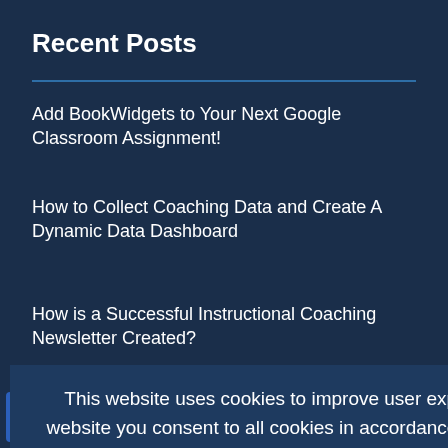Recent Posts
Add BookWidgets to Your Next Google Classroom Assignment!
How to Collect Coaching Data and Create A Dynamic Data Dashboard
How is a Successful Instructional Coaching Newsletter Created?
Turning Your Coaching Newsletters into Conversations
10 Years and 200 Episodes … What Have I Learned as an Instructional Coach?
This website uses cookies to improve user experience. By using our website you consent to all cookies in accordance with our Cookie Policy.
I agree
0
SHARES